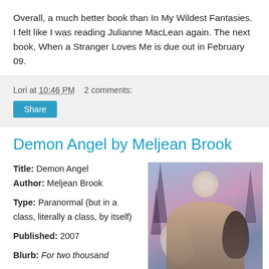Overall, a much better book than In My Wildest Fantasies. I felt like I was reading Julianne MacLean again. The next book, When a Stranger Loves Me is due out in February 09.
Lori at 10:46 PM   2 comments:
Demon Angel by Meljean Brook
Title: Demon Angel
Author: Meljean Brook
Type: Paranormal (but in a class, literally a class, by itself)
Published: 2007
Blurb: For two thousand
[Figure (photo): Book cover of Demon Angel showing a winged male figure and a female figure embracing, with trees and moonlit sky in the background]